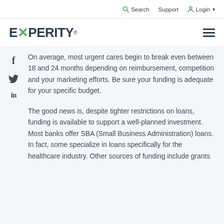Search   Support   Login
[Figure (logo): Experity logo with green X mark and registered trademark symbol, plus hamburger menu icon]
On average, most urgent cares begin to break even between 18 and 24 months depending on reimbursement, competition and your marketing efforts. Be sure your funding is adequate for your specific budget.
The good news is, despite tighter restrictions on loans, funding is available to support a well-planned investment. Most banks offer SBA (Small Business Administration) loans. In fact, some specialize in loans specifically for the healthcare industry. Other sources of funding include grants